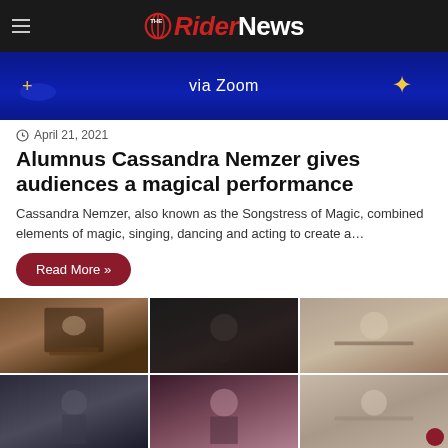The Rider News
[Figure (screenshot): Blue banner with text 'via Zoom' and decorative stars/plus symbols]
April 21, 2021
Alumnus Cassandra Nemzer gives audiences a magical performance
Cassandra Nemzer, also known as the Songstress of Magic, combined elements of magic, singing, dancing and acting to create a…
Read More »
[Figure (photo): Grid of six photos showing student musicians playing various instruments including drums, clarinet, flute, trumpet in a Zoom-style virtual performance layout]